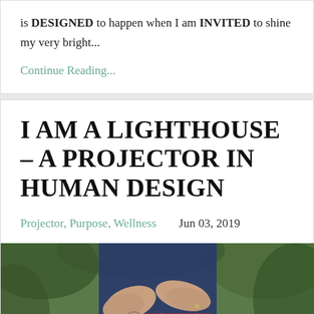is DESIGNED to happen when I am INVITED to shine my very bright...
Continue Reading...
I AM A LIGHTHOUSE – A PROJECTOR IN HUMAN DESIGN
Projector, Purpose, Wellness    Jun 03, 2019
[Figure (photo): A person with tattoos on their arms, wearing a red plaid dress, arms crossed, photographed outdoors with green foliage in the background.]